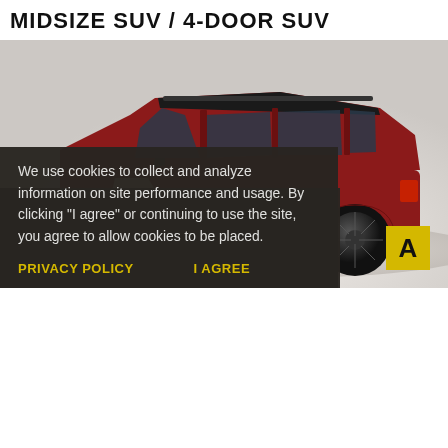MIDSIZE SUV / 4-DOOR SUV
[Figure (photo): Red Ford Flex 4-door SUV photographed on a white studio background, side profile view showing black wheels, black roof rails, and tinted windows.]
We use cookies to collect and analyze information on site performance and usage. By clicking "I agree" or continuing to use the site, you agree to allow cookies to be placed.
PRIVACY POLICY
I AGREE